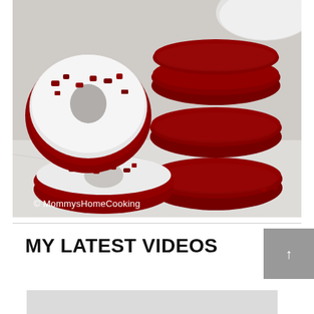[Figure (photo): Red velvet donuts with white cream frosting and red crumbles on left, stack of three red velvet cookies on right, on a marble surface. Watermark: © MommysHomeCooking]
MY LATEST VIDEOS
[Figure (screenshot): Partially visible video thumbnail with light gray background]